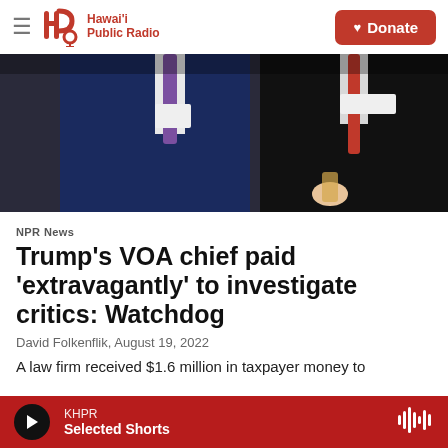Hawai'i Public Radio — Donate
[Figure (photo): Two men in suits wearing name tags at an event. Left man wears a blue suit with purple tie; right man wears dark suit with red tie and holds a drink.]
NPR News
Trump's VOA chief paid 'extravagantly' to investigate critics: Watchdog
David Folkenflik,  August 19, 2022
A law firm received $1.6 million in taxpayer money to
KHPR — Selected Shorts